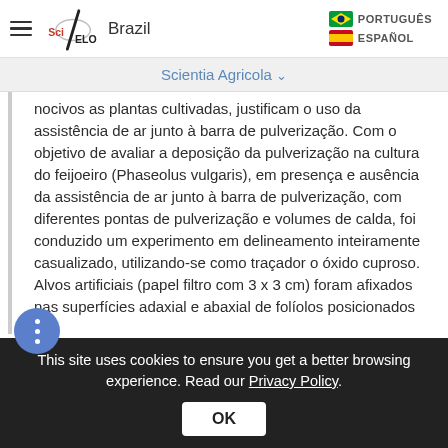SciELO Brazil | PORTUGUÊS | ESPAÑOL
Scientia Agricola
nocivos as plantas cultivadas, justificam o uso da assistência de ar junto à barra de pulverização. Com o objetivo de avaliar a deposição da pulverização na cultura do feijoeiro (Phaseolus vulgaris), em presença e ausência da assistência de ar junto à barra de pulverização, com diferentes pontas de pulverização e volumes de calda, foi conduzido um experimento em delineamento inteiramente casualizado, utilizando-se como traçador o óxido cuproso. Alvos artificiais (papel filtro com 3 x 3 cm) foram afixados nas superfícies adaxial e abaxial de folíolos posicionados nos
This site uses cookies to ensure you get a better browsing experience. Read our Privacy Policy.